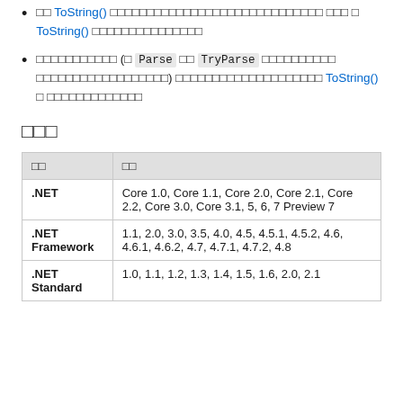□□ ToString() □□□□□□□□□□□□□□□□□□□□□□□□□□□□□ □□□ □ ToString() □□□□□□□□□□□□□□□
□□□□□□□□□□□ (□ Parse □□ TryParse □□□□□□□□□□ □□□□□□□□□□□□□□□□□□) □□□□□□□□□□□□□□□□□□□□ ToString() □ □□□□□□□□□□□□□
□□□
| □□ | □□ |
| --- | --- |
| .NET | Core 1.0, Core 1.1, Core 2.0, Core 2.1, Core 2.2, Core 3.0, Core 3.1, 5, 6, 7 Preview 7 |
| .NET Framework | 1.1, 2.0, 3.0, 3.5, 4.0, 4.5, 4.5.1, 4.5.2, 4.6, 4.6.1, 4.6.2, 4.7, 4.7.1, 4.7.2, 4.8 |
| .NET Standard | 1.0, 1.1, 1.2, 1.3, 1.4, 1.5, 1.6, 2.0, 2.1 |